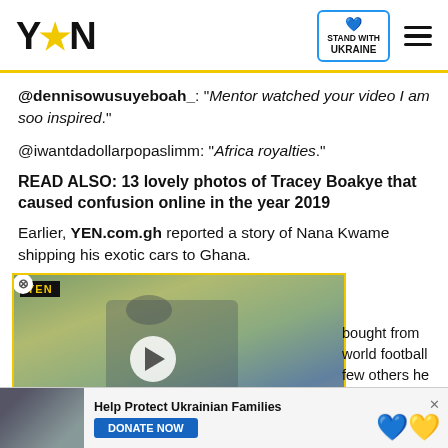YEN | Stand with Ukraine
@dennisowusuyeboah_: "Mentor watched your video I am soo inspired."
@iwantdadollarpopaslimm: "Africa royalties."
READ ALSO: 13 lovely photos of Tracey Boakye that caused confusion online in the year 2019
Earlier, YEN.com.gh reported a story of Nana Kwame shipping his exotic cars to Ghana.
[Figure (screenshot): YEN video player showing a man standing at a road junction. Caption reads: MAJOR SINKHOLE DEVELOPS ON THE MADINA-TETTEH QUARSHIE HIGHWAY]
bought from world football few others he acquired.
[Figure (infographic): Ad banner: Help Protect Ukrainian Families - DONATE NOW button with Ukraine flag heart icon]